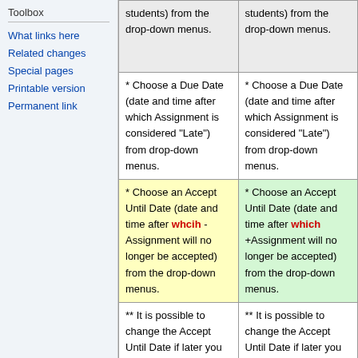Toolbox
What links here
Related changes
Special pages
Printable version
Permanent link
| students) from the drop-down menus. | students) from the drop-down menus. |
| * Choose a Due Date (date and time after which Assignment is considered "Late") from drop-down menus. | * Choose a Due Date (date and time after which Assignment is considered "Late") from drop-down menus. |
| * Choose an Accept Until Date (date and time after whcih -Assignment will no longer be accepted) from the drop-down menus. | * Choose an Accept Until Date (date and time after which +Assignment will no longer be accepted) from the drop-down menus. |
| ** It is possible to change the Accept Until Date if later you decide you want to accept a student submission. | ** It is possible to change the Accept Until Date if later you decide you want to accept a student submission. |
|  |  |